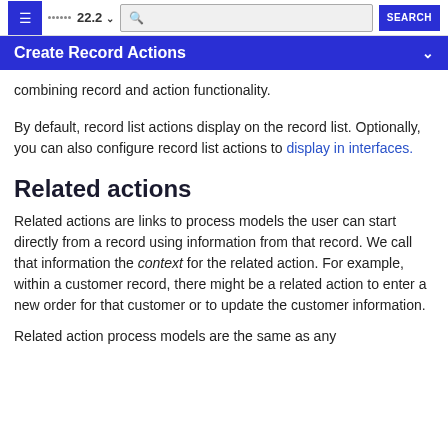≡  22.2 ∨  [search]  SEARCH
Create Record Actions
combining record and action functionality.
By default, record list actions display on the record list. Optionally, you can also configure record list actions to display in interfaces.
Related actions
Related actions are links to process models the user can start directly from a record using information from that record. We call that information the context for the related action. For example, within a customer record, there might be a related action to enter a new order for that customer or to update the customer information.
Related action process models are the same as any